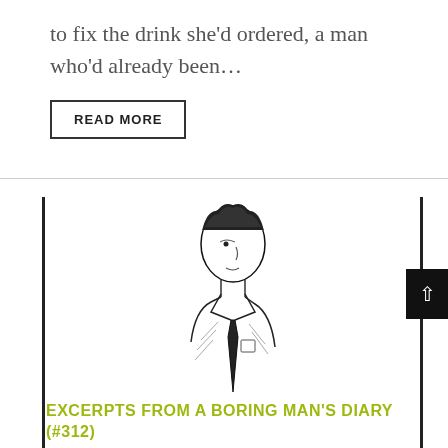to fix the drink she'd ordered, a man who'd already been…
READ MORE
[Figure (illustration): Simple line drawing of a boring-looking man in a white shirt and dark tie, viewed from the chest up, with a neutral expression.]
EXCERPTS FROM A BORING MAN'S DIARY (#312)